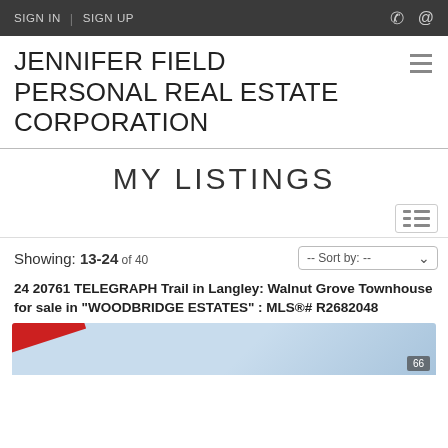SIGN IN | SIGN UP
JENNIFER FIELD PERSONAL REAL ESTATE CORPORATION
MY LISTINGS
Showing: 13-24 of 40
24 20761 TELEGRAPH Trail in Langley: Walnut Grove Townhouse for sale in "WOODBRIDGE ESTATES" : MLS®# R2682048